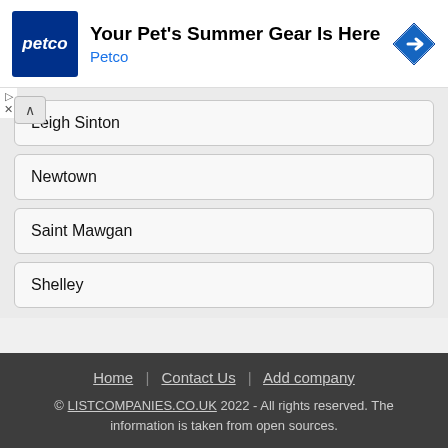[Figure (other): Petco advertisement banner with blue Petco logo, text 'Your Pet's Summer Gear Is Here', 'Petco' in blue, and a blue diamond navigation icon on the right]
Leigh Sinton
Newtown
Saint Mawgan
Shelley
Home | Contact Us | Add company
© LISTCOMPANIES.CO.UK 2022 - All rights reserved. The information is taken from open sources.